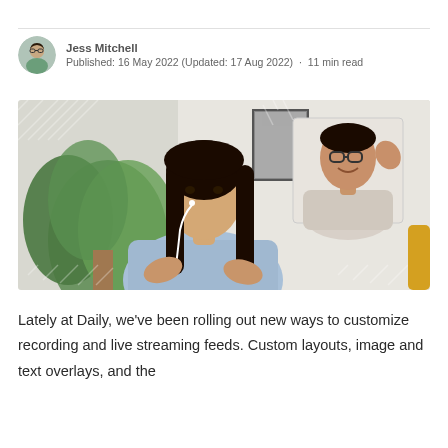Jess Mitchell
Published: 16 May 2022 (Updated: 17 Aug 2022) · 11 min read
[Figure (photo): A woman with long dark hair wearing earphones on a video call, with a picture-in-picture of a man with glasses waving in the upper right corner. Background shows a home office with a plant.]
Lately at Daily, we've been rolling out new ways to customize recording and live streaming feeds. Custom layouts, image and text overlays, and the